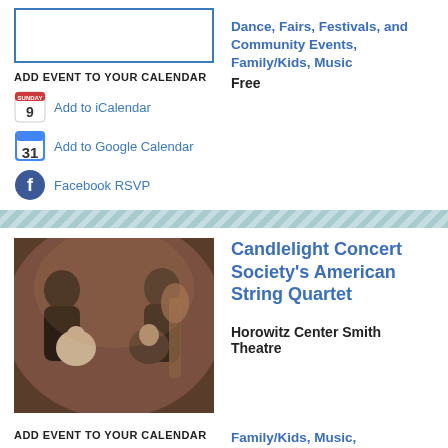[Figure (photo): Placeholder image with blue border]
ADD EVENT TO YOUR CALENDAR
Add to iCalendar
Add to Google Calendar
Facebook RSVP
Dance, Fairs, Festivals, and Community Events, Family/Kids, Music
Free
[Figure (photo): Candlelight Concert Society's American String Quartet - group photo of four musicians with instruments]
Candlelight Concert Society's American String Quartet
Horowitz Center Smith Theatre
ADD EVENT TO YOUR CALENDAR
Family/Kids, Music, Performance
Add to iCalendar
Add to Google Calendar